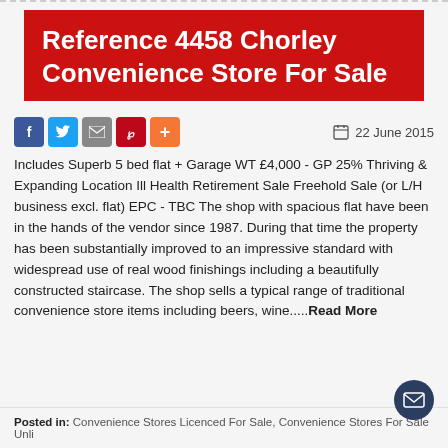Reference 4458 Chorley Convenience Store For Sale
22 June 2015
Includes Superb 5 bed flat + Garage WT £4,000 - GP 25% Thriving & Expanding Location Ill Health Retirement Sale Freehold Sale (or L/H business excl. flat) EPC - TBC The shop with spacious flat have been in the hands of the vendor since 1987. During that time the property has been substantially improved to an impressive standard with widespread use of real wood finishings including a beautifully constructed staircase. The shop sells a typical range of traditional convenience store items including beers, wine.....Read More
Posted in: Convenience Stores Licenced For Sale, Convenience Stores For Sale Unli…